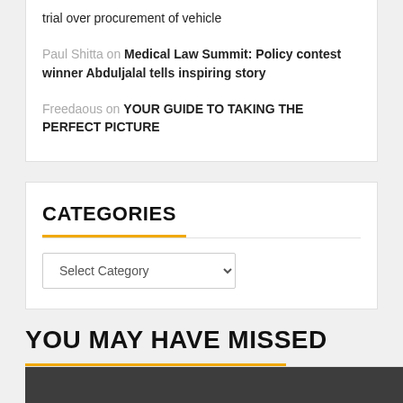trial over procurement of vehicle
Paul Shitta on Medical Law Summit: Policy contest winner Abduljalal tells inspiring story
Freedaous on YOUR GUIDE TO TAKING THE PERFECT PICTURE
CATEGORIES
Select Category
YOU MAY HAVE MISSED
[Figure (photo): Dark gray image placeholder for a missed article]